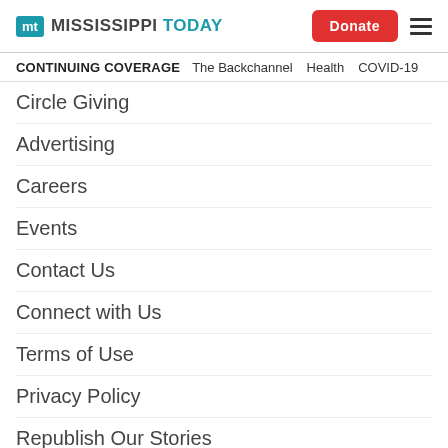Mississippi Today — Donate — Menu
CONTINUING COVERAGE  The Backchannel  Health  COVID-19
Circle Giving
Advertising
Careers
Events
Contact Us
Connect with Us
Terms of Use
Privacy Policy
Republish Our Stories
Marshall Ramsey's Cartoon Services
Send a News Tip